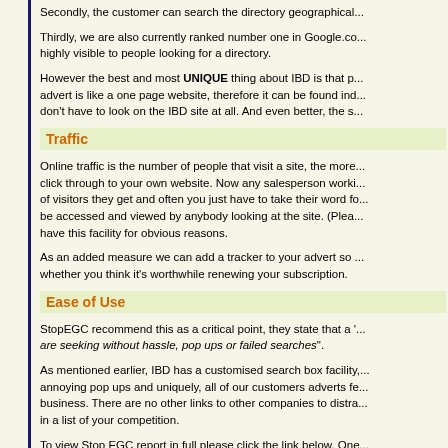Secondly, the customer can search the directory geographical...
Thirdly, we are also currently ranked number one in Google.co... highly visible to people looking for a directory.
However the best and most UNIQUE thing about IBD is that p... advert is like a one page website, therefore it can be found ind... don't have to look on the IBD site at all. And even better, the s...
Traffic
Online traffic is the number of people that visit a site, the more... click through to your own website. Now any salesperson worki... of visitors they get and often you just have to take their word fo... be accessed and viewed by anybody looking at the site. (Plea... have this facility for obvious reasons.
As an added measure we can add a tracker to your advert so ... whether you think it's worthwhile renewing your subscription.
Ease of Use
StopEGC recommend this as a critical point, they state that a '... are seeking without hassle, pop ups or failed searches".
As mentioned earlier, IBD has a customised search box facility,... annoying pop ups and uniquely, all of our customers adverts fe... business. There are no other links to other companies to distra... in a list of your competition.
To view Stop EGC report in full please click the link below. One... of unscrupulous advertising techniques by a certain Internet di... whatsoever to do with this company.
Stop ECG Report on Good Directory Listings